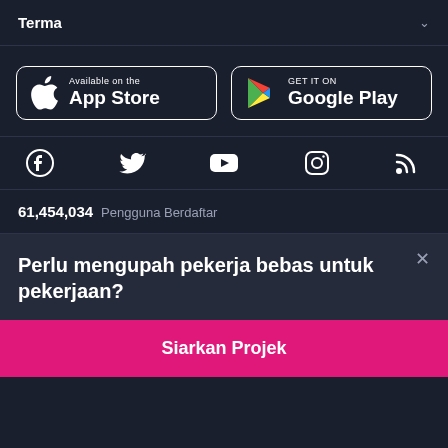Terma
[Figure (screenshot): App Store and Google Play store download buttons]
[Figure (infographic): Social media icons: Facebook, Twitter, YouTube, Instagram, RSS]
61,454,034 Pengguna Berdaftar
Perlu mengupah pekerja bebas untuk pekerjaan?
Siarkan Projek